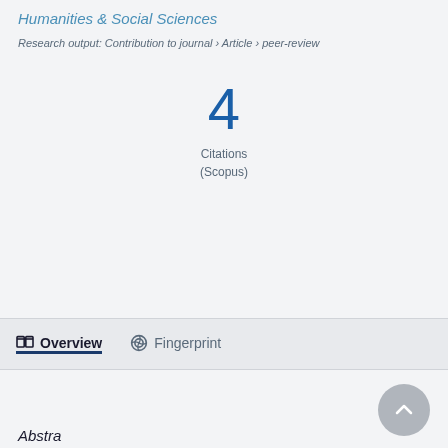Humanities & Social Sciences
Research output: Contribution to journal › Article › peer-review
4
Citations
(Scopus)
Overview   Fingerprint
Abstract